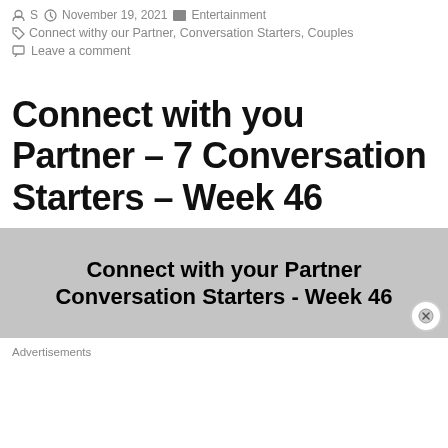S  November 19, 2021  Entertainment
Connect withy our Partner, Conversation Starters, Couples
Leave a comment
Connect with you Partner – 7 Conversation Starters – Week 46
[Figure (photo): Image overlay with bold text: Connect with your Partner Conversation Starters - Week 46, with a close (X) button.]
Advertisements